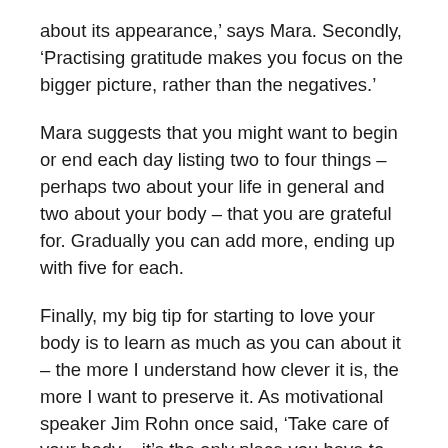about its appearance,' says Mara. Secondly, 'Practising gratitude makes you focus on the bigger picture, rather than the negatives.'
Mara suggests that you might want to begin or end each day listing two to four things – perhaps two about your life in general and two about your body – that you are grateful for. Gradually you can add more, ending up with five for each.
Finally, my big tip for starting to love your body is to learn as much as you can about it – the more I understand how clever it is, the more I want to preserve it. As motivational speaker Jim Rohn once said, 'Take care of your body – it's the only place you have to live.'